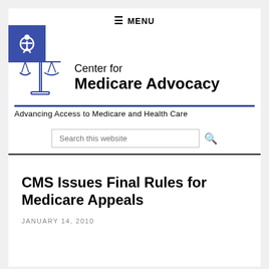≡ MENU
[Figure (logo): Center for Medicare Advocacy logo with scales of justice icon and tagline: Advancing Access to Medicare and Health Care]
CMS Issues Final Rules for Medicare Appeals
JANUARY 14, 2010